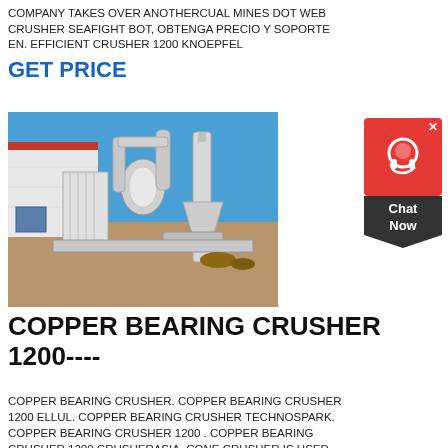COMPANY TAKES OVER ANOTHERCUAL MINES DOT WEB CRUSHER SEAFIGHT BOT, OBTENGA PRECIO Y SOPORTE EN. EFFICIENT CRUSHER 1200 KNOEPFEL
GET PRICE
[Figure (photo): Industrial grinding/milling machine equipment outdoors next to a building with blue sky background]
COPPER BEARING CRUSHER 1200----
COPPER BEARING CRUSHER. COPPER BEARING CRUSHER 1200 ELLUL. COPPER BEARING CRUSHER TECHNOSPARK. COPPER BEARING CRUSHER 1200 . COPPER BEARING CRUSHER 1200 CRUSHERASIA. CONE CRUSHER IS USED